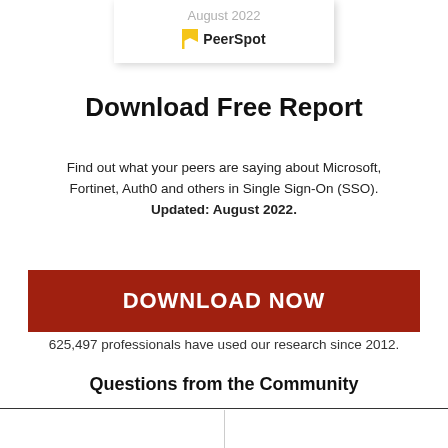[Figure (logo): PeerSpot logo with yellow flag icon and 'August 2022' date text in a white card with shadow]
Download Free Report
Find out what your peers are saying about Microsoft, Fortinet, Auth0 and others in Single Sign-On (SSO). Updated: August 2022.
DOWNLOAD NOW
625,497 professionals have used our research since 2012.
Questions from the Community